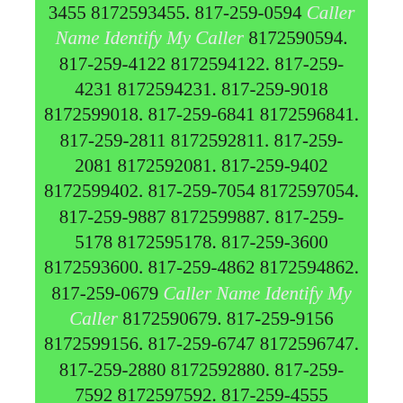3455 8172593455. 817-259-0594 Caller Name Identify My Caller 8172590594. 817-259-4122 8172594122. 817-259-4231 8172594231. 817-259-9018 8172599018. 817-259-6841 8172596841. 817-259-2811 8172592811. 817-259-2081 8172592081. 817-259-9402 8172599402. 817-259-7054 8172597054. 817-259-9887 8172599887. 817-259-5178 8172595178. 817-259-3600 8172593600. 817-259-4862 8172594862. 817-259-0679 Caller Name Identify My Caller 8172590679. 817-259-9156 8172599156. 817-259-6747 8172596747. 817-259-2880 8172592880. 817-259-7592 8172597592. 817-259-4555 8172594555. 817-259-0190 Caller Name Identify My Caller 8172590190. 817-259-1296 8172591296. 817-259-3870 8172593870. 817-259-3230 8172593230. 817-259-2753 8172592753. 817-259-8080 8172598080. 817-259-0578 Caller Name